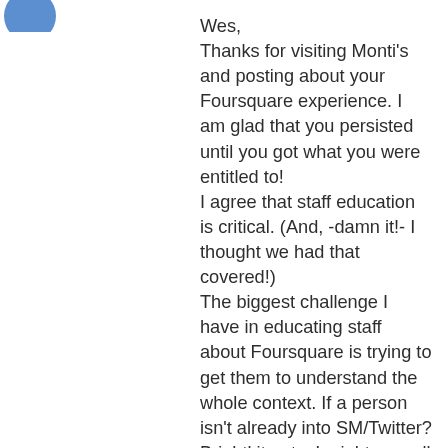[Figure (photo): Partial circular avatar image in top-left corner, blue/teal color]
Wes,
Thanks for visiting Monti's and posting about your Foursquare experience. I am glad that you persisted until you got what you were entitled to!
I agree that staff education is critical. (And, -damn it!- I thought we had that covered!)
The biggest challenge I have in educating staff about Foursquare is trying to get them to understand the whole context. If a person isn't already into SM/Twitter? Brightkite etc. I might as well be trying to get them to understand 16-dimensional spacetime warping. Back to the drawing board, I guess. 😉
All the best,
MLM